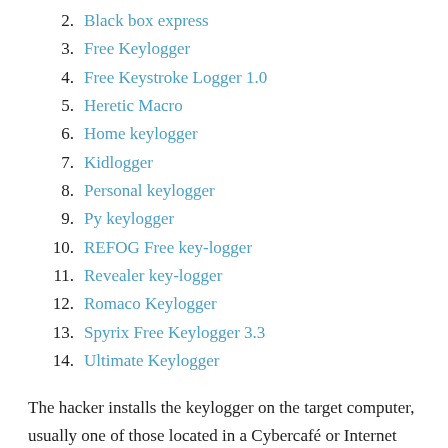2. Black box express
3. Free Keylogger
4. Free Keystroke Logger 1.0
5. Heretic Macro
6. Home keylogger
7. Kidlogger
8. Personal keylogger
9. Py keylogger
10. REFOG Free key-logger
11. Revealer key-logger
12. Romaco Keylogger
13. Spyrix Free Keylogger 3.3
14. Ultimate Keylogger
The hacker installs the keylogger on the target computer, usually one of those located in a Cybercafé or Internet Cafe (local or abroad it doesn't matter), possibly while viewing some free porn as stated in the article "XXX-Rated Kids", Published Sunday July 28, 2013, by Tyrone Reid, Senior Staff Reporter, The Jamaica